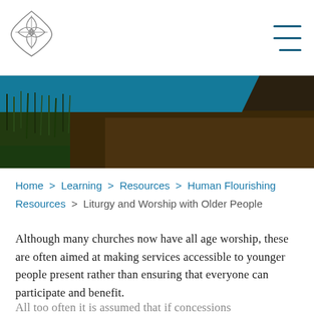[Figure (logo): Diamond/cross shaped church logo in outline style]
[Figure (photo): Hero image with teal banner overlay on top of dark nature/soil/grass photograph]
Home > Learning > Resources > Human Flourishing Resources > Liturgy and Worship with Older People
Although many churches now have all age worship, these are often aimed at making services accessible to younger people present rather than ensuring that everyone can participate and benefit.
All too often it is assumed that if concessions